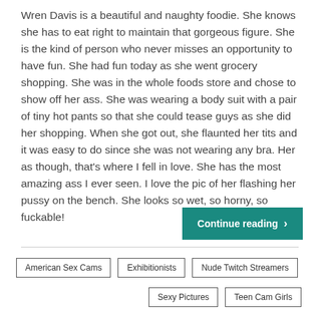Wren Davis is a beautiful and naughty foodie. She knows she has to eat right to maintain that gorgeous figure. She is the kind of person who never misses an opportunity to have fun. She had fun today as she went grocery shopping. She was in the whole foods store and chose to show off her ass. She was wearing a body suit with a pair of tiny hot pants so that she could tease guys as she did her shopping. When she got out, she flaunted her tits and it was easy to do since she was not wearing any bra. Her as though, that's where I fell in love. She has the most amazing ass I ever seen. I love the pic of her flashing her pussy on the bench. She looks so wet, so horny, so fuckable!
Continue reading ›
American Sex Cams
Exhibitionists
Nude Twitch Streamers
Sexy Pictures
Teen Cam Girls